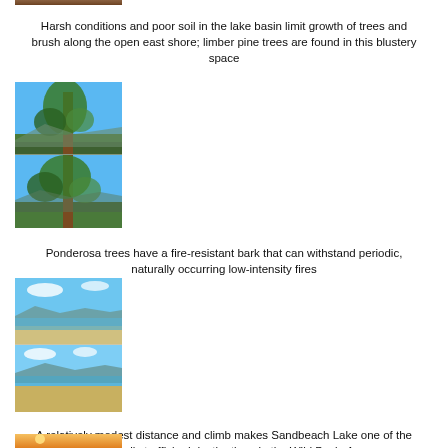[Figure (photo): Partial photo of trees/forest at top of page, cropped]
Harsh conditions and poor soil in the lake basin limit growth of trees and brush along the open east shore; limber pine trees are found in this blustery space
[Figure (photo): Two stacked photos of a tall pine tree (likely limber pine) against a blue sky with mountain lake in background]
Ponderosa trees have a fire-resistant bark that can withstand periodic, naturally occurring low-intensity fires
[Figure (photo): Two stacked photos of a lake shore with sandy beach, blue water, and mountains in background under partly cloudy sky]
A relatively modest distance and climb makes Sandbeach Lake one of the most heavily trafficked destinations in the Wild Basin Area
[Figure (photo): Partial photo of a sunset over water/landscape at bottom of page]